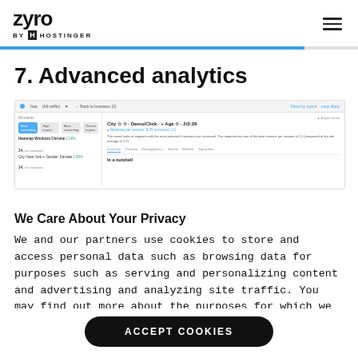zyro by HOSTINGER
7. Advanced analytics
[Figure (screenshot): Screenshot of an analytics dashboard interface showing filters, segments, city/age breakdown, revenue per session metrics, tabs including Summary, and data rows with green percentage indicators.]
We Care About Your Privacy
We and our partners use cookies to store and access personal data such as browsing data for purposes such as serving and personalizing content and advertising and analyzing site traffic. You may find out more about the purposes for which we and our
ACCEPT COOKIES